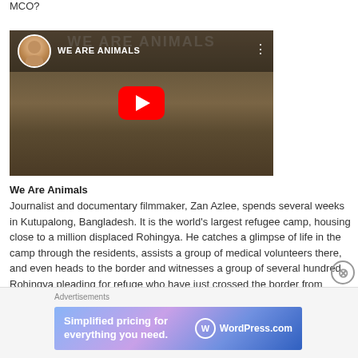MCO?
[Figure (screenshot): YouTube video thumbnail titled 'WE ARE ANIMALS' with a red play button in the center. Shows a woman's circular profile photo in the top-left corner and a crowd scene in the background.]
We Are Animals
Journalist and documentary filmmaker, Zan Azlee, spends several weeks in Kutupalong, Bangladesh. It is the world's largest refugee camp, housing close to a million displaced Rohingya. He catches a glimpse of life in the camp through the residents, assists a group of medical volunteers there, and even heads to the border and witnesses a group of several hundred Rohingya pleading for refuge who have just crossed the border from Myanmar.
[Figure (screenshot): WordPress.com advertisement banner: 'Simplified pricing for everything you need.' with WordPress.com logo on gradient purple/blue background]